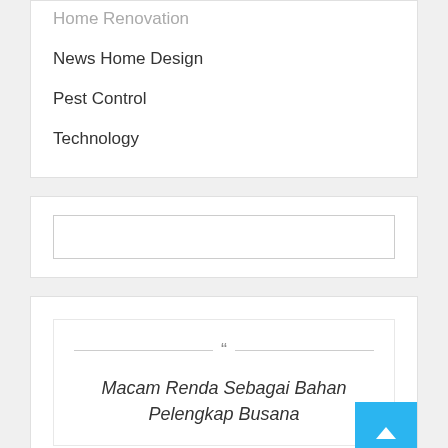Home Renovation
News Home Design
Pest Control
Technology
[Figure (screenshot): Empty search input box]
Macam Renda Sebagai Bahan Pelengkap Busana